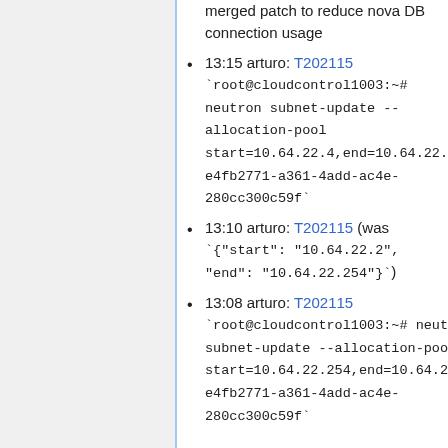merged patch to reduce nova DB connection usage
13:15 arturo: T202115 `root@cloudcontrol1003:~# neutron subnet-update --allocation-pool start=10.64.22.4,end=10.64.22.4 e4fb2771-a361-4add-ac4e-280cc300c59f`
13:10 arturo: T202115 (was `{"start": "10.64.22.2", "end": "10.64.22.254"}`)
13:08 arturo: T202115 `root@cloudcontrol1003:~# neutron subnet-update --allocation-pool start=10.64.22.254,end=10.64.22.254 e4fb2771-a361-4add-ac4e-280cc300c59f`
2018-08-22
15:28 arturo: cleanup local